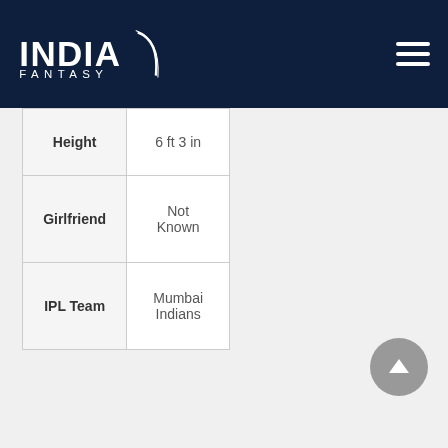INDIA FANTASY
| Attribute | Value |
| --- | --- |
| Height | 6 ft 3 in |
| Girlfriend | Not Known |
| IPL Team | Mumbai Indians |